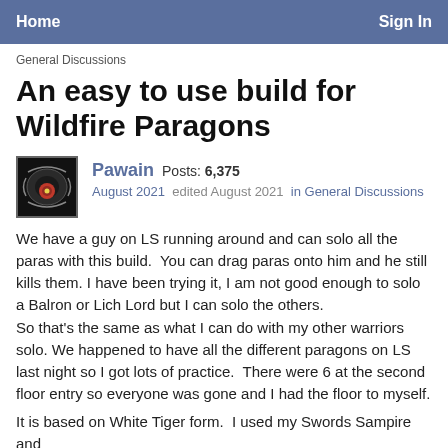Home    Sign In
General Discussions
An easy to use build for Wildfire Paragons
Pawain  Posts: 6,375  August 2021  edited August 2021  in General Discussions
We have a guy on LS running around and can solo all the paras with this build.  You can drag paras onto him and he still kills them.  I have been trying it, I am not good enough to solo a Balron or Lich Lord but I can solo the others.
So that's the same as what I can do with my other warriors solo.  We happened to have all the different paragons on LS last night so I got lots of practice.  There were 6 at the second floor entry so everyone was gone and I had the floor to myself.

It is based on White Tiger form.  I used my Swords Sampire and converted him to this.